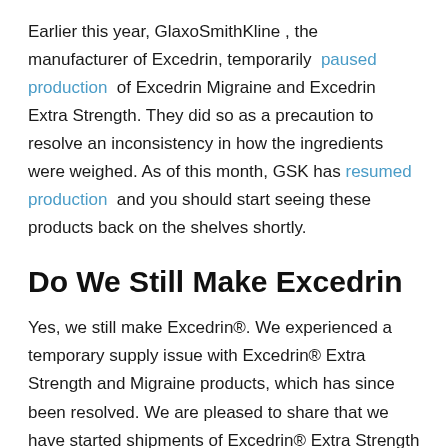Earlier this year, GlaxoSmithKline , the manufacturer of Excedrin, temporarily paused production of Excedrin Migraine and Excedrin Extra Strength. They did so as a precaution to resolve an inconsistency in how the ingredients were weighed. As of this month, GSK has resumed production and you should start seeing these products back on the shelves shortly.
Do We Still Make Excedrin
Yes, we still make Excedrin®. We experienced a temporary supply issue with Excedrin® Extra Strength and Migraine products, which has since been resolved. We are pleased to share that we have started shipments of Excedrin® Extra Strength and Migraine products to retailers. We recommend using our product locator tool to find Excedrin® products